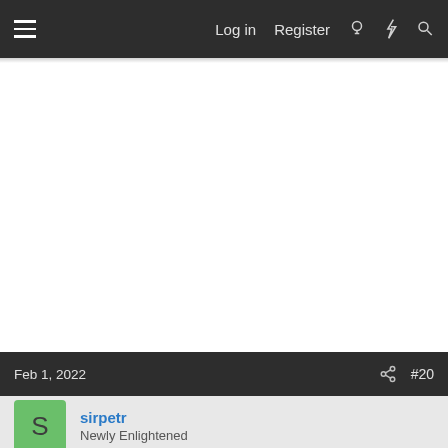≡  Log in  Register  🔍
Feb 1, 2022   #20
sirpetr
Newly Enlightened